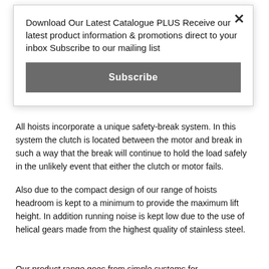Download Our Latest Catalogue PLUS Receive our latest product information & promotions direct to your inbox Subscribe to our mailing list
Subscribe
All hoists incorporate a unique safety-break system. In this system the clutch is located between the motor and break in such a way that the break will continue to hold the load safely in the unlikely event that either the clutch or motor fails.
Also due to the compact design of our range of hoists headroom is kept to a minimum to provide the maximum lift height. In addition running noise is kept low due to the use of helical gears made from the highest quality of stainless steel.
Our product range goes from simple systems for conventional rigging to hoisting. All SB models guarantee a higher level of security for working above people with its two separate brakes as well as an emergency and limit switch, higher security factors and...